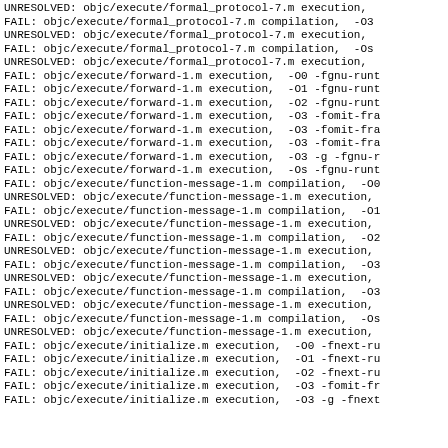UNRESOLVED: objc/execute/formal_protocol-7.m execution,
FAIL: objc/execute/formal_protocol-7.m compilation,  -O3
UNRESOLVED: objc/execute/formal_protocol-7.m execution,
FAIL: objc/execute/formal_protocol-7.m compilation,  -Os
UNRESOLVED: objc/execute/formal_protocol-7.m execution,
FAIL: objc/execute/forward-1.m execution,  -O0 -fgnu-runt
FAIL: objc/execute/forward-1.m execution,  -O1 -fgnu-runt
FAIL: objc/execute/forward-1.m execution,  -O2 -fgnu-runt
FAIL: objc/execute/forward-1.m execution,  -O3 -fomit-fra
FAIL: objc/execute/forward-1.m execution,  -O3 -fomit-fra
FAIL: objc/execute/forward-1.m execution,  -O3 -fomit-fra
FAIL: objc/execute/forward-1.m execution,  -O3 -g -fgnu-r
FAIL: objc/execute/forward-1.m execution,  -Os -fgnu-runt
FAIL: objc/execute/function-message-1.m compilation,  -O0
UNRESOLVED: objc/execute/function-message-1.m execution,
FAIL: objc/execute/function-message-1.m compilation,  -O1
UNRESOLVED: objc/execute/function-message-1.m execution,
FAIL: objc/execute/function-message-1.m compilation,  -O2
UNRESOLVED: objc/execute/function-message-1.m execution,
FAIL: objc/execute/function-message-1.m compilation,  -O3
UNRESOLVED: objc/execute/function-message-1.m execution,
FAIL: objc/execute/function-message-1.m compilation,  -O3
UNRESOLVED: objc/execute/function-message-1.m execution,
FAIL: objc/execute/function-message-1.m compilation,  -Os
UNRESOLVED: objc/execute/function-message-1.m execution,
FAIL: objc/execute/initialize.m execution,  -O0 -fnext-ru
FAIL: objc/execute/initialize.m execution,  -O1 -fnext-ru
FAIL: objc/execute/initialize.m execution,  -O2 -fnext-ru
FAIL: objc/execute/initialize.m execution,  -O3 -fomit-fr
FAIL: objc/execute/initialize.m execution,  -O3 -g -fnext